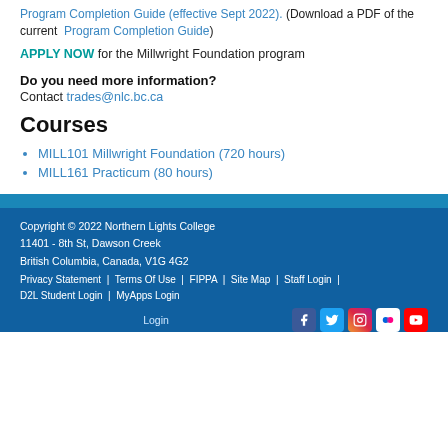Program Completion Guide (effective Sept 2022). (Download a PDF of the current Program Completion Guide)
APPLY NOW for the Millwright Foundation program
Do you need more information?
Contact trades@nlc.bc.ca
Courses
MILL101 Millwright Foundation (720 hours)
MILL161 Practicum (80 hours)
Copyright © 2022 Northern Lights College
11401 - 8th St, Dawson Creek
British Columbia, Canada, V1G 4G2
Privacy Statement | Terms Of Use | FIPPA | Site Map | Staff Login | D2L Student Login | MyApps Login
Login